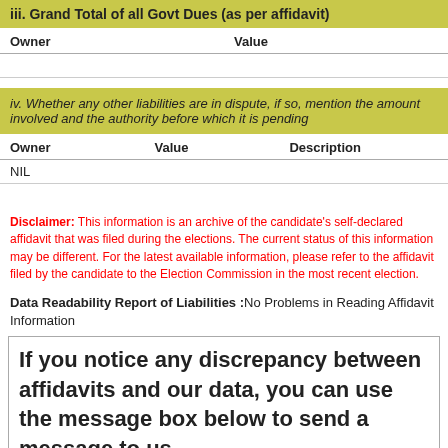iii. Grand Total of all Govt Dues (as per affidavit)
| Owner | Value |
| --- | --- |
iv. Whether any other liabilities are in dispute, if so, mention the amount involved and the authority before which it is pending
| Owner | Value | Description |
| --- | --- | --- |
| NIL |  |  |
Disclaimer: This information is an archive of the candidate’s self-declared affidavit that was filed during the elections. The current status of this information may be different. For the latest available information, please refer to the affidavit filed by the candidate to the Election Commission in the most recent election.
Data Readability Report of Liabilities :No Problems in Reading Affidavit Information
If you notice any discrepancy between affidavits and our data, you can use the message box below to send a message to us.
Name :